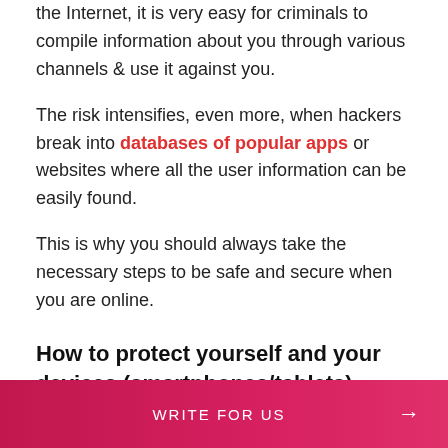the Internet, it is very easy for criminals to compile information about you through various channels & use it against you.
The risk intensifies, even more, when hackers break into databases of popular apps or websites where all the user information can be easily found.
This is why you should always take the necessary steps to be safe and secure when you are online.
How to protect yourself and your devices (smartphones/tablets) online
WRITE FOR US →